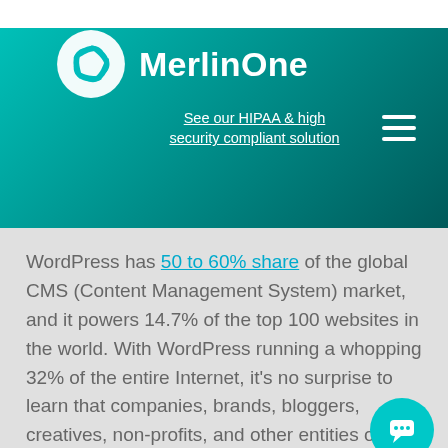MerlinOne — See our HIPAA & high security compliant solution
WordPress has 50 to 60% share of the global CMS (Content Management System) market, and it powers 14.7% of the top 100 websites in the world. With WordPress running a whopping 32% of the entire Internet, it's no surprise to learn that companies, brands, bloggers, creatives, non-profits, and other entities of all stripes rely on the popular CMS to manage their websites and blogs.
WordPress is popular for good reason: the are tons of features, helpful tools, and